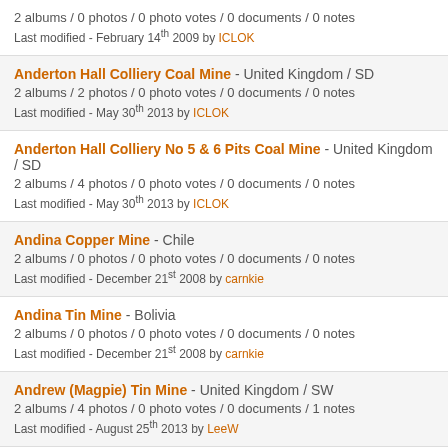2 albums / 0 photos / 0 photo votes / 0 documents / 0 notes
Last modified - February 14th 2009 by ICLOK
Anderton Hall Colliery Coal Mine - United Kingdom / SD
2 albums / 2 photos / 0 photo votes / 0 documents / 0 notes
Last modified - May 30th 2013 by ICLOK
Anderton Hall Colliery No 5 & 6 Pits Coal Mine - United Kingdom / SD
2 albums / 4 photos / 0 photo votes / 0 documents / 0 notes
Last modified - May 30th 2013 by ICLOK
Andina Copper Mine - Chile
2 albums / 0 photos / 0 photo votes / 0 documents / 0 notes
Last modified - December 21st 2008 by carnkie
Andina Tin Mine - Bolivia
2 albums / 0 photos / 0 photo votes / 0 documents / 0 notes
Last modified - December 21st 2008 by carnkie
Andrew (Magpie) Tin Mine - United Kingdom / SW
2 albums / 4 photos / 0 photo votes / 0 documents / 1 notes
Last modified - August 25th 2013 by LeeW